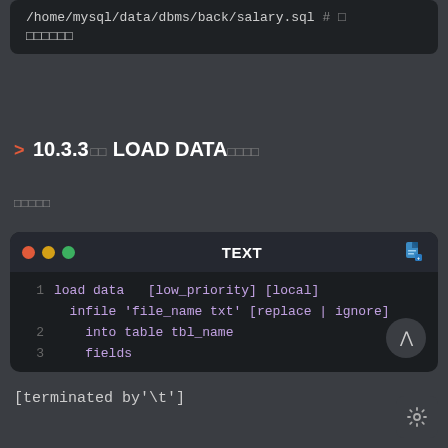[Figure (screenshot): Terminal/code block showing path /home/mysql/data/dbms/back/salary.sql with a comment marker and garbled characters below]
> 10.3.3 LOAD DATA
（garbled characters）
[Figure (screenshot): Code editor card titled TEXT showing LOAD DATA SQL syntax: line 1 load data [low_priority] [local] infile 'file_name txt' [replace | ignore], line 2 into table tbl_name, line 3 fields]
[terminated by'\t']